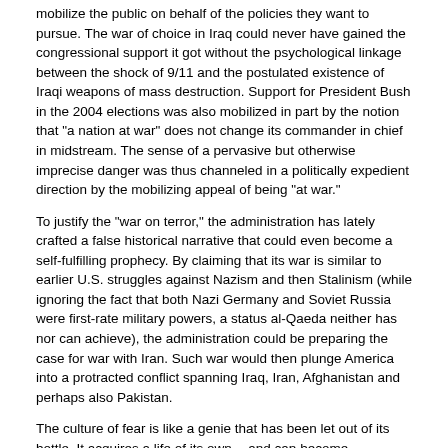mobilize the public on behalf of the policies they want to pursue. The war of choice in Iraq could never have gained the congressional support it got without the psychological linkage between the shock of 9/11 and the postulated existence of Iraqi weapons of mass destruction. Support for President Bush in the 2004 elections was also mobilized in part by the notion that "a nation at war" does not change its commander in chief in midstream. The sense of a pervasive but otherwise imprecise danger was thus channeled in a politically expedient direction by the mobilizing appeal of being "at war."
To justify the "war on terror," the administration has lately crafted a false historical narrative that could even become a self-fulfilling prophecy. By claiming that its war is similar to earlier U.S. struggles against Nazism and then Stalinism (while ignoring the fact that both Nazi Germany and Soviet Russia were first-rate military powers, a status al-Qaeda neither has nor can achieve), the administration could be preparing the case for war with Iran. Such war would then plunge America into a protracted conflict spanning Iraq, Iran, Afghanistan and perhaps also Pakistan.
The culture of fear is like a genie that has been let out of its bottle. It acquires a life of its own -- and can become demoralizing. America today is not the self-confident and determined nation that responded to Pearl Harbor; nor is it the America that heard from its leader, at another moment of crisis, the powerful words "the only thing we have to fear is fear itself"; nor is it the calm America that waged the Cold War with quiet persistence despite the knowledge that a real war could be initiated abruptly within minutes and prompt the death of 100 million Americans within just a few hours. We are now divided, uncertain and potentially very susceptible to panic in the event of another terrorist act in the United States itself.